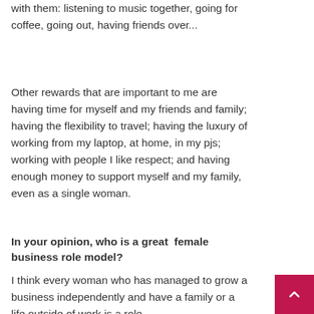with them: listening to music together, going for coffee, going out, having friends over...
Other rewards that are important to me are having time for myself and my friends and family; having the flexibility to travel; having the luxury of working from my laptop, at home, in my pjs; working with people I like respect; and having enough money to support myself and my family, even as a single woman.
In your opinion, who is a great female business role model?
I think every woman who has managed to grow a business independently and have a family or a life outside of work is a role...